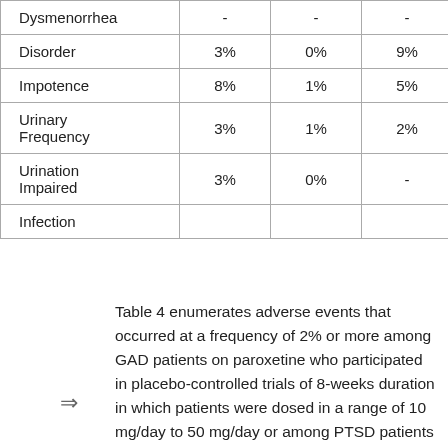|  |  |  |  |  |
| --- | --- | --- | --- | --- |
| Dysmenorrhea | - | - | - | - |
| Disorder | 3% | 0% | 9% | 1% |
| Impotence | 8% | 1% | 5% | 0% |
| Urinary Frequency | 3% | 1% | 2% | 0% |
| Urination Impaired | 3% | 0% | - | - |
| Infection |  |  |  |  |
Table 4 enumerates adverse events that occurred at a frequency of 2% or more among GAD patients on paroxetine who participated in placebo-controlled trials of 8-weeks duration in which patients were dosed in a range of 10 mg/day to 50 mg/day or among PTSD patients